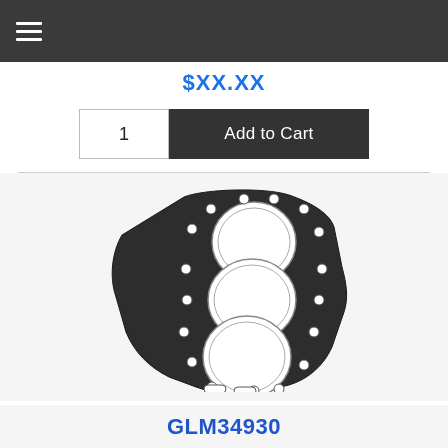Navigation menu bar
$XX.XX (price, partially obscured)
1   Add to Cart
[Figure (photo): Engine cylinder head gasket for marine outboard motor, showing three large circular bore openings with bolt holes around the perimeter, made of dark metallic material]
GLM34930